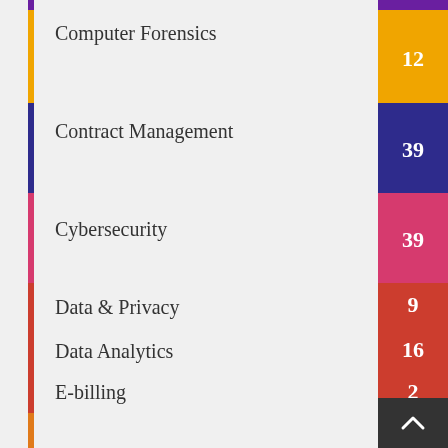Computer Forensics
Contract Management
Cybersecurity
Data & Privacy
Data Analytics
E-billing
E-discovery
Information Governance
Investigations
Leadership
Technology